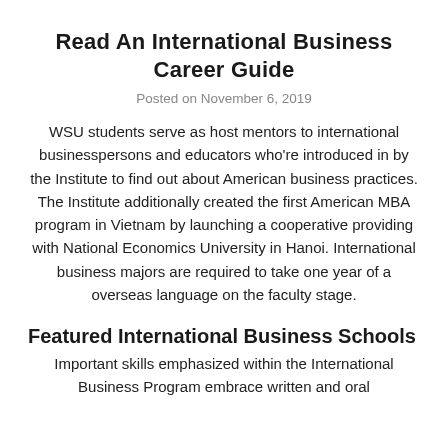Read An International Business Career Guide
Posted on November 6, 2019
WSU students serve as host mentors to international businesspersons and educators who’re introduced in by the Institute to find out about American business practices. The Institute additionally created the first American MBA program in Vietnam by launching a cooperative providing with National Economics University in Hanoi. International business majors are required to take one year of a overseas language on the faculty stage.
Featured International Business Schools
Important skills emphasized within the International Business Program embrace written and oral